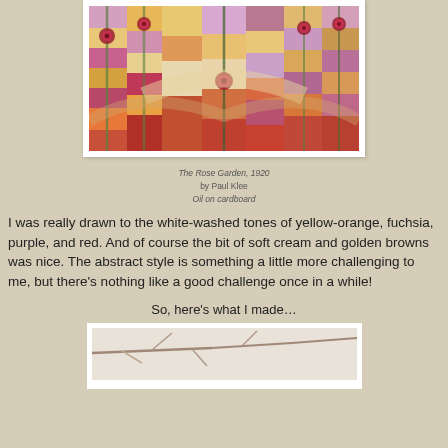[Figure (photo): Painting 'The Rose Garden, 1920' by Paul Klee - abstract colorful artwork with geometric shapes, roses, pinks, oranges, purples, reds and creams]
The Rose Garden, 1920
by Paul Klee
Oil on cardboard
I was really drawn to the white-washed tones of yellow-orange, fuchsia, purple, and red. And of course the bit of soft cream and golden browns was nice. The abstract style is something a little more challenging to me, but there's nothing like a good challenge once in a while!
So, here's what I made…
[Figure (photo): A second image showing branches against a light background, partially visible at bottom of page]